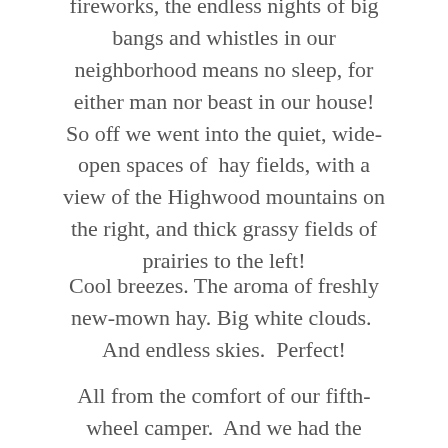fireworks, the endless nights of big bangs and whistles in our neighborhood means no sleep, for either man nor beast in our house! So off we went into the quiet, wide-open spaces of hay fields, with a view of the Highwood mountains on the right, and thick grassy fields of prairies to the left!
Cool breezes. The aroma of freshly new-mown hay. Big white clouds. And endless skies. Perfect!
All from the comfort of our fifth-wheel camper. And we had the entire “campsite” to ourselves!! Does it get much better? Not at that moment.